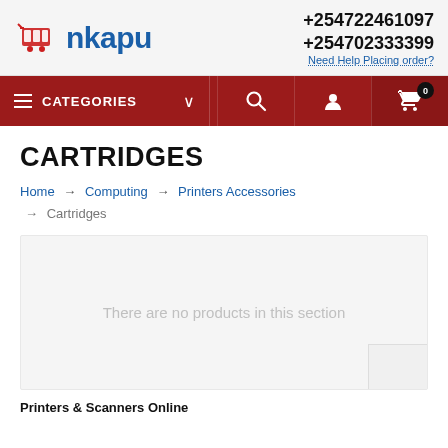[Figure (logo): Nkapu e-commerce logo with shopping cart icon in red and blue text]
+254722461097
+254702333399
Need Help Placing order?
CATEGORIES navigation bar with search, user, and cart icons
CARTRIDGES
Home → Computing → Printers Accessories → Cartridges
There are no products in this section
Printers & Scanners Online